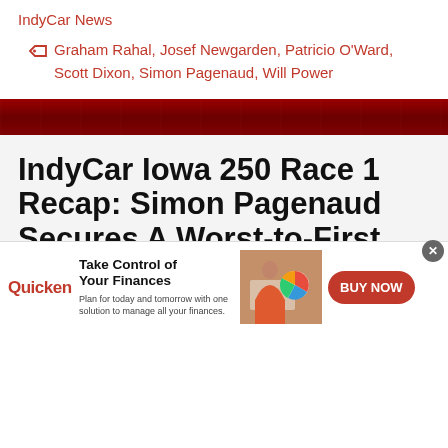IndyCar News
Graham Rahal, Josef Newgarden, Patricio O'Ward, Scott Dixon, Simon Pagenaud, Will Power
IndyCar Iowa 250 Race 1 Recap: Simon Pagenaud Secures A Worst-to-First Win
July 18, 2020 By
[Figure (infographic): Quicken advertisement banner: Take Control of Your Finances. Plan for today and tomorrow with one solution to manage all your finances. BUY NOW button. Shows woman working on laptop with finance app screen.]